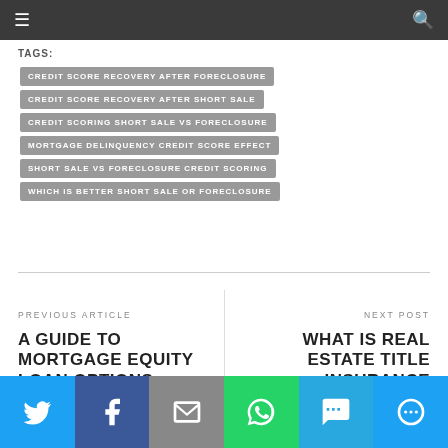Navigation bar with menu and search icons
TAGS:
CREDIT SCORE RECOVERY AFTER FORECLOSURE
CREDIT SCORE RECOVERY AFTER SHORT SALE
CREDIT SCORING SHORT SALE VS FORECLOSURE
MORTGAGE DELINQUENCY CREDIT SCORE EFFECT
SHORT SALE VS FORECLOSURE CREDIT SCORING
WHICH IS BETTER SHORT SALE OR FORECLOSURE
PREVIOUS ARTICLE
A GUIDE TO MORTGAGE EQUITY LOAN OPTIONS
NEXT POST
WHAT IS REAL ESTATE TITLE INSURANCE
Social share buttons: Twitter, Facebook, Email, WhatsApp, SMS, More